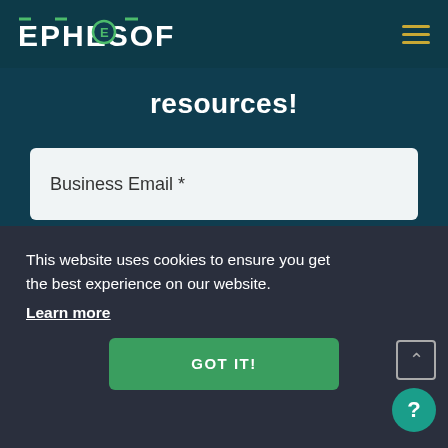EPHESOFT
resources!
Business Email *
I have read and accept the privacy policy.
SUBSCRIBE
This website uses cookies to ensure you get the best experience on our website.
Learn more
GOT IT!